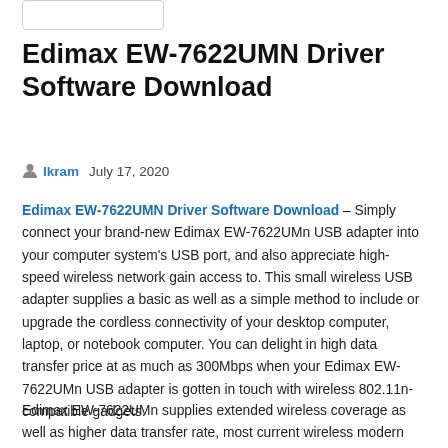Edimax EW-7622UMN Driver Software Download
Ikram   July 17, 2020
Edimax EW-7622UMN Driver Software Download – Simply connect your brand-new Edimax EW-7622UMn USB adapter into your computer system's USB port, and also appreciate high-speed wireless network gain access to. This small wireless USB adapter supplies a basic as well as a simple method to include or upgrade the cordless connectivity of your desktop computer, laptop, or notebook computer. You can delight in high data transfer price at as much as 300Mbps when your Edimax EW-7622UMn USB adapter is gotten in touch with wireless 802.11n-compatible gadgets.
Edimax EW-7622UMn supplies extended wireless coverage as well as higher data transfer rate, most current wireless modern technology